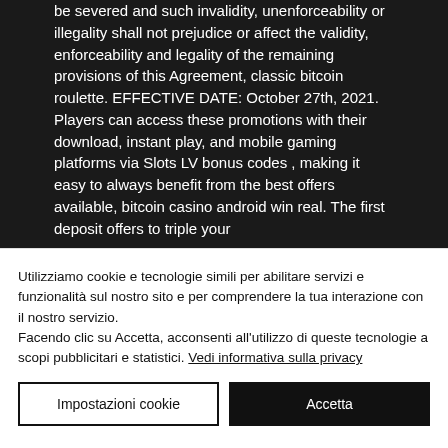be severed and such invalidity, unenforceability or illegality shall not prejudice or affect the validity, enforceability and legality of the remaining provisions of this Agreement, classic bitcoin roulette. EFFECTIVE DATE: October 27th, 2021. Players can access these promotions with their download, instant play, and mobile gaming platforms via Slots LV bonus codes , making it easy to always benefit from the best offers available, bitcoin casino android win real. The first deposit offers to triple your
Utilizziamo cookie e tecnologie simili per abilitare servizi e funzionalità sul nostro sito e per comprendere la tua interazione con il nostro servizio.
Facendo clic su Accetta, acconsenti all'utilizzo di queste tecnologie a scopi pubblicitari e statistici. Vedi informativa sulla privacy
Impostazioni cookie
Accetta